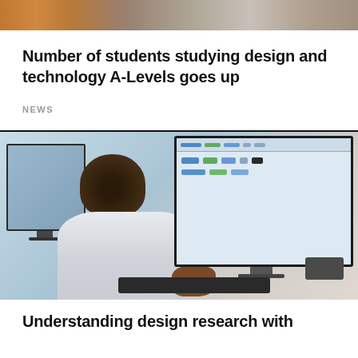[Figure (photo): Top cropped photo showing people, partially visible at top of page]
Number of students studying design and technology A-Levels goes up
NEWS
[Figure (photo): Student sitting at a desk working on a computer with a large monitor displaying a website]
Understanding design research with